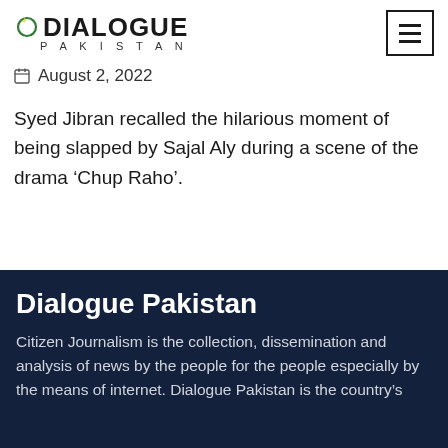[Figure (logo): Dialogue Pakistan logo with star icon and text]
August 2, 2022
Syed Jibran recalled the hilarious moment of being slapped by Sajal Aly during a scene of the drama ‘Chup Raho’.
Dialogue Pakistan
Citizen Journalism is the collection, dissemination and analysis of news by the people for the people especially by the means of internet. Dialogue Pakistan is the country’s